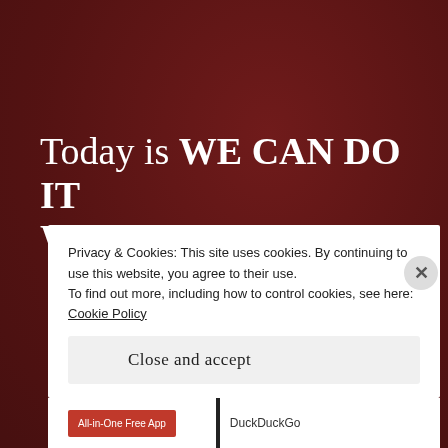Today is WE CAN DO IT WEDNESDAY
ALMOST
REPORT THIS AD
Privacy & Cookies: This site uses cookies. By continuing to use this website, you agree to their use.
To find out more, including how to control cookies, see here: Cookie Policy
Close and accept